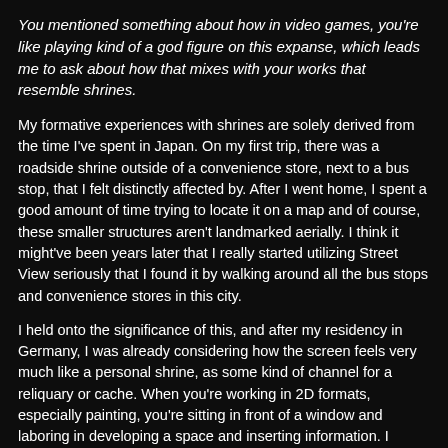You mentioned something about how in video games, you're like playing kind of a god figure on this expanse, which leads me to ask about how that mixes with your works that resemble shrines.
My formative experiences with shrines are solely derived from the time I've spent in Japan. On my first trip, there was a roadside shrine outside of a convenience store, next to a bus stop, that I felt distinctly affected by. After I went home, I spent a good amount of time trying to locate it on a map and of course, these smaller structures aren't landmarked aerially. I think it might've been years later that I really started utilizing Street View seriously that I found it by walking around all the bus stops and convenience stores in this city.
I held onto the significance of this, and after my residency in Germany, I was already considering how the screen feels very much like a personal shrine, as some kind of channel for a reliquary or cache. When you're working in 2D formats, especially painting, you're sitting in front of a window and laboring in developing a space and inserting information. I wanted to bring that dedication and mentality to an object. I wanted the body to interact with it a bit more. Works that sit on the floor allow the viewer to activate and open that space for themselves, and the associations and ideas that are then brought to it aren't so clearly